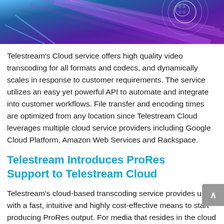[Figure (photo): Abstract technology/cloud image with purple and blue gradient tones, circular design elements in white on the right side]
Telestream's Cloud service offers high quality video transcoding for all formats and codecs, and dynamically scales in response to customer requirements. The service utilizes an easy yet powerful API to automate and integrate into customer workflows. File transfer and encoding times are optimized from any location since Telestream Cloud leverages multiple cloud service providers including Google Cloud Platform, Amazon Web Services and Rackspace.
Telestream Introduces ProRes Support to Telestream Cloud
Telestream's cloud-based transcoding service provides users with a fast, intuitive and highly cost-effective means to start producing ProRes output. For media that resides in the cloud and is destined for OTT distribution, Telestream Cloud takes a fraction of the time to